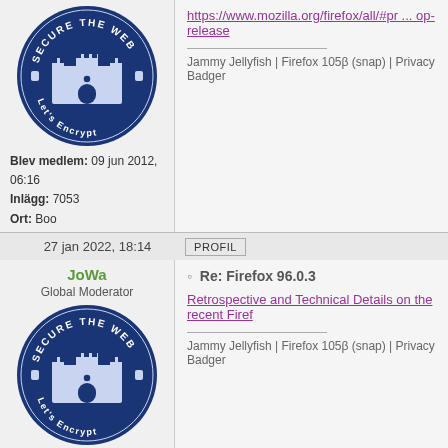[Figure (illustration): Circular badge with 'Secure The Web' and 'Let's Encrypt' text, dark blue background with castle imagery]
Blev medlem: 09 jun 2012, 06:16
Inlägg: 7053
Ort: Boo
OS: Ubuntu
Utgåva: 22.04 Jammy Jellyfish LTS
https://www.mozilla.org/firefox/all/#pr ... op-release
Jammy Jellyfish | Firefox 105β (snap) | Privacy Badger
27 jan 2022, 18:14
PROFIL
JoWa
Global Moderator
[Figure (illustration): Circular badge with 'Secure The Web' and 'Let's Encrypt' text, dark blue background with castle imagery]
Blev medlem: 09 jun 2012, 06:16
Inlägg: 7053
Ort: Boo
OS: Ubuntu
Utgåva: 22.04 Jammy
Re: Firefox 96.0.3
Retrospective and Technical Details on the recent Firef
Jammy Jellyfish | Firefox 105β (snap) | Privacy Badger